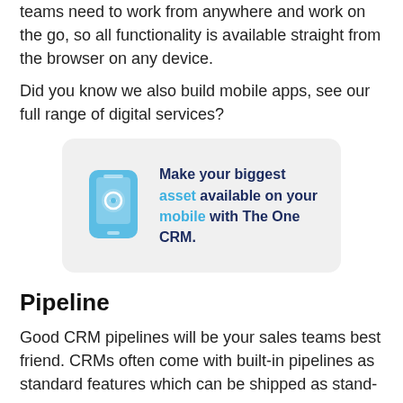teams need to work from anywhere and work on the go, so all functionality is available straight from the browser on any device.
Did you know we also build mobile apps, see our full range of digital services?
[Figure (infographic): A grey rounded card with a blue smartphone icon on the left and bold text on the right reading: Make your biggest asset available on your mobile with The One CRM.]
Pipeline
Good CRM pipelines will be your sales teams best friend. CRMs often come with built-in pipelines as standard features which can be shipped as stand-